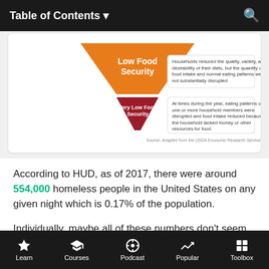Table of Contents
[Figure (infographic): Food security pyramid funnel diagram showing levels: Low Food Security (orange) - Households reduced the quality, variety, and desirability of their diets, but the quantity of food intake and normal eating patterns were not substantially disrupted. Very Low Food Security (dark red) - At times during the year, eating patterns of one or more household members were disrupted and food intake reduced because the household lacked money or other resources for food. Source: Adapted from the USDA Economic Research Service.]
According to HUD, as of 2017, there were around 554,000 homeless people in the United States on any given night which is 0.17% of the population.
Individually, maybe all of these numbers don't seem that high. But when you factor various numbers from each category, the 10.6 million people…
Learn | Courses | Podcast | Popular | Toolbox